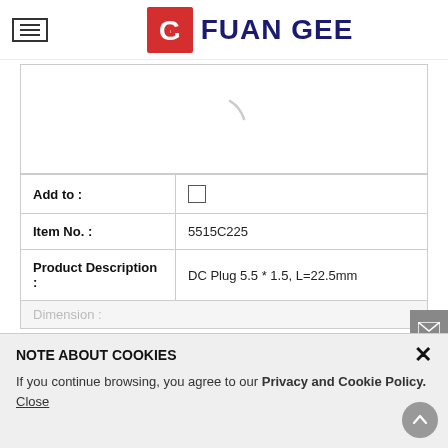FUAN GEE
[Figure (photo): Product image area (loading) with a spinner arc visible]
| Add to : | ☐ |
| Item No. : | 5515C225 |
| Product Description : | DC Plug 5.5 * 1.5, L=22.5mm |
Dimension :
NOTE ABOUT COOKIES
If you continue browsing, you agree to our Privacy and Cookie Policy. Close